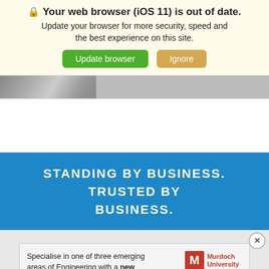[Figure (screenshot): Browser update notification banner with icon, bold title 'Your web browser (iOS 11) is out of date.', subtitle text, and two buttons: 'Update browser' (green) and 'Ignore' (tan/gold).]
[Figure (photo): Partial image strip showing what appears to be a laptop or device photo, cropped at the top.]
STANDING BY BUSINESS. TRUSTED BY BUSINESS.
[Figure (screenshot): Advertisement for Murdoch University Master of Engineering Practice. Shows MU logo, text about specialising in one of three emerging areas of Engineering with a new Master of Engineering Practice, an Apply Now button, and Instagram icon.]